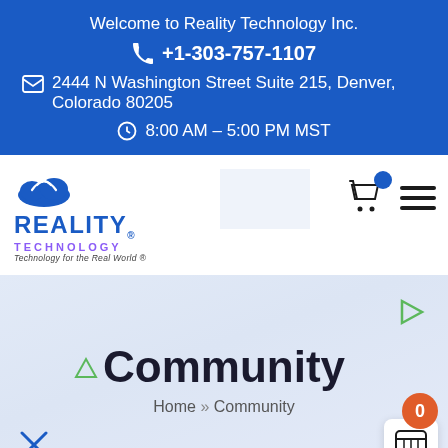Welcome to Reality Technology Inc.
+1-303-757-1107
2444 N Washington Street Suite 215, Denver, Colorado 80205
8:00 AM – 5:00 PM MST
[Figure (logo): Reality Technology Inc. logo with cloud icon, blue REALITY text, purple TECHNOLOGY text, and tagline 'Technology for the Real World®']
Community
Home » Community